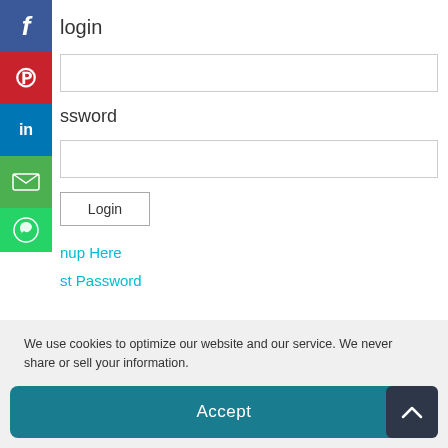[Figure (screenshot): Social share sidebar with Facebook, Pinterest, LinkedIn, Email, and WhatsApp buttons]
login
ssword
Login
nup Here
st Password
We use cookies to optimize our website and our service. We never share or sell your information.
Accept